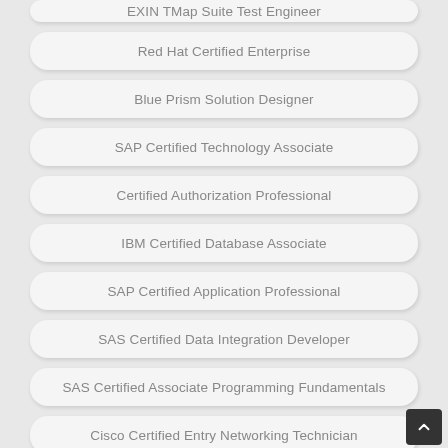EXIN TMap Suite Test Engineer
Red Hat Certified Enterprise
Blue Prism Solution Designer
SAP Certified Technology Associate
Certified Authorization Professional
IBM Certified Database Associate
SAP Certified Application Professional
SAS Certified Data Integration Developer
SAS Certified Associate Programming Fundamentals
Cisco Certified Entry Networking Technician